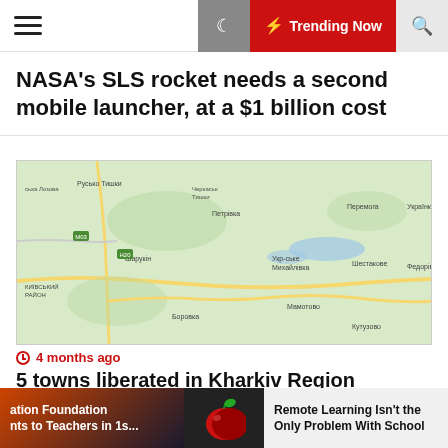Trending Now navigation bar
NASA's SLS rocket needs a second mobile launcher, at a $1 billion cost
[Figure (map): Google Maps view of Kharkiv Region, Ukraine showing towns including Шестакове, Федорівка, Петрівка, Боровка, Мамотово, Кутузово, and surrounding areas]
4 months ago
5 towns liberated in Kharkiv Region
[Figure (photo): Partial photo strip at bottom showing two images side by side with a centered apple icon]
ation Foundation nts to Teachers in 1s...
Remote Learning Isn't the Only Problem With School